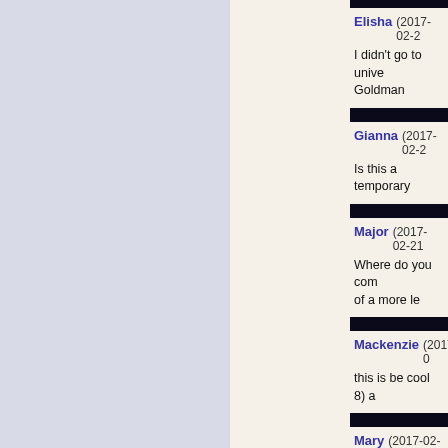Elisha (2017-02-2...)
I didn't go to unive... Goldman
Gianna (2017-02-2...)
Is this a temporary...
Major (2017-02-21...)
Where do you com... of a more le
Mackenzie (2017-0...)
this is be cool 8) a...
Mary (2017-02-21...)
How many days w... science lab by yea...
Salvador (2017-02...)
Other amount prot...